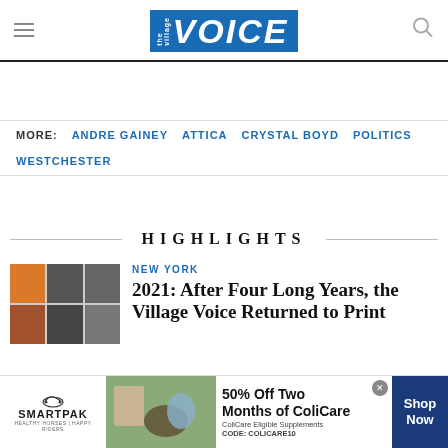the Village Voice
MORE: ANDRE GAINEY  ATTICA  CRYSTAL BOYD  POLITICS  WESTCHESTER
HIGHLIGHTS
NEW YORK
2021: After Four Long Years, the Village Voice Returned to Print
[Figure (photo): Grid of Village Voice magazine covers]
[Figure (photo): Advertisement banner: SmartPak – 50% Off Two Months of ColiCare, ColiCare Eligible Supplements, CODE: COLICARE10, Shop Now]
50% Off Two Months of ColiCare – ColiCare Eligible Supplements – CODE: COLICARE10